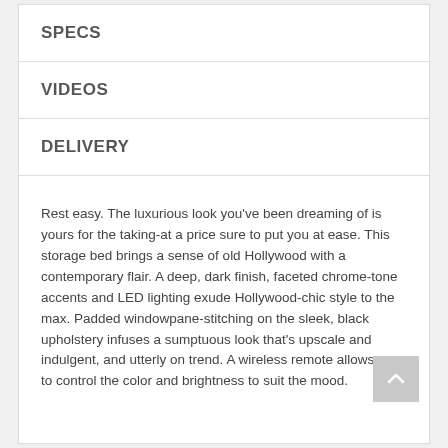SPECS
VIDEOS
DELIVERY
Rest easy. The luxurious look you've been dreaming of is yours for the taking-at a price sure to put you at ease. This storage bed brings a sense of old Hollywood with a contemporary flair. A deep, dark finish, faceted chrome-tone accents and LED lighting exude Hollywood-chic style to the max. Padded windowpane-stitching on the sleek, black upholstery infuses a sumptuous look that's upscale and indulgent, and utterly on trend. A wireless remote allows you to control the color and brightness to suit the mood.